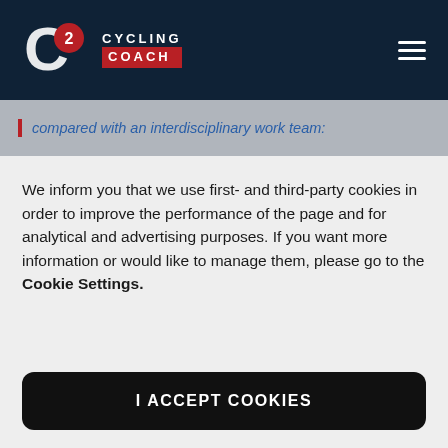[Figure (logo): C2 Cycling Coach logo with hamburger menu on dark navy header]
compared with an interdisciplinary work team:
We inform you that we use first- and third-party cookies in order to improve the performance of the page and for analytical and advertising purposes. If you want more information or would like to manage them, please go to the Cookie Settings.
I ACCEPT COOKIES